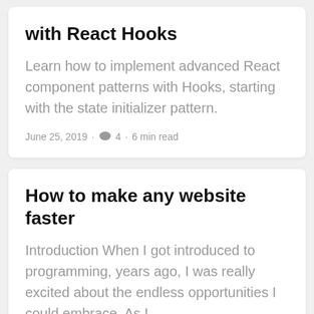with React Hooks
Learn how to implement advanced React component patterns with Hooks, starting with the state initializer pattern.
June 25, 2019 · 4 · 6 min read
How to make any website faster
Introduction When I got introduced to programming, years ago, I was really excited about the endless opportunities I could embrace. As I